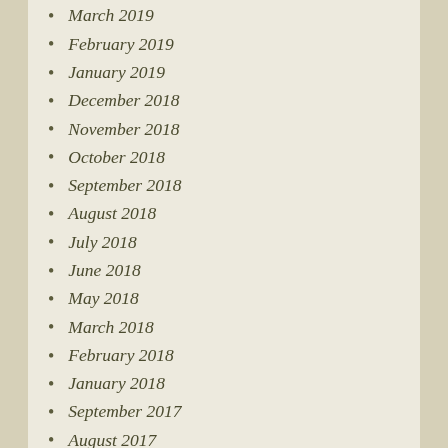March 2019
February 2019
January 2019
December 2018
November 2018
October 2018
September 2018
August 2018
July 2018
June 2018
May 2018
March 2018
February 2018
January 2018
September 2017
August 2017
June 2017
May 2017
April 2017
January 2017
December 2016